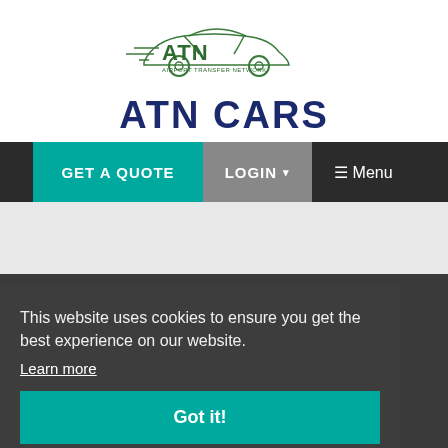[Figure (logo): ATN Cars logo with car silhouette and 'AIRPORT TRANSFER NETWORK' text, followed by large 'ATN CARS' text in dark blue]
GET A QUOTE
LOGIN ▾
☰ Menu
This website uses cookies to ensure you get the best experience on our website.
Learn more
...airport ...Taxi Service to & from Airport, Cruise port Cabs
Got it!
+